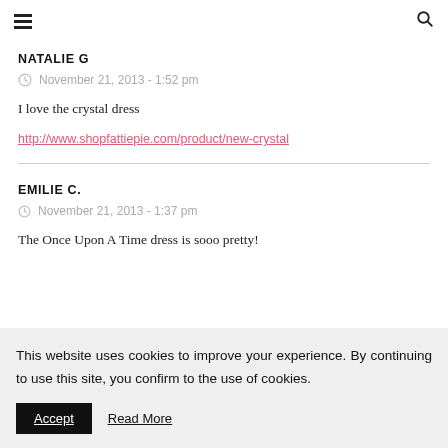≡  🔍
NATALIE G
November 21, 2013 - 1:52 pm
I love the crystal dress
http://www.shopfattiepie.com/product/new-crystal
EMILIE C.
November 21, 2013 - 1:37 pm
The Once Upon A Time dress is sooo pretty!
This website uses cookies to improve your experience. By continuing to use this site, you confirm to the use of cookies.
Accept  Read More